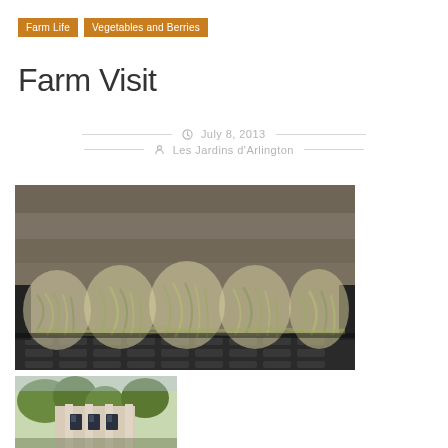Farm Life | Vegetables and Berries
Farm Visit
July 8, 2013
Les Jardins d'Arlington
[Figure (photo): Plastic bags of yellow/green beans in a black plastic crate against a wooden background]
[Figure (photo): Partial view of a building exterior with windows and trees]